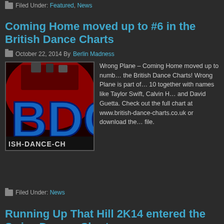Filed Under: Featured, News
Coming Home moved up to #6 in the British Dance Charts
October 22, 2014 By Berlin Madness
[Figure (photo): British Dance Charts logo - BDC letters in blue on red background with 'ISH-DANCE-CH' text at bottom]
Wrong Plane – Coming Home moved up to number 6 in the British Dance Charts! Wrong Plane is part of the top 10 together with names like Taylor Swift, Calvin Harris and David Guetta. Check out the full chart at www.british-dance-charts.co.uk or download the file.
Filed Under: News
Running Up That Hill 2K14 entered the Swiss Dance Charts
October 12, 2014 By Berlin Madness